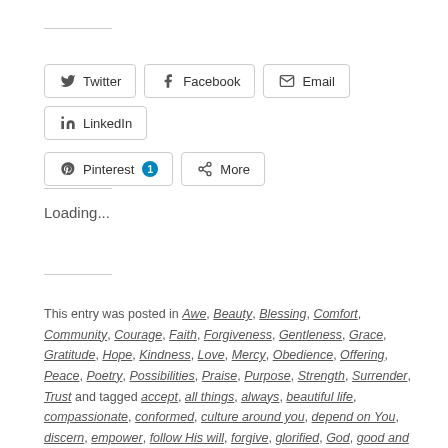[Figure (other): Social share buttons: Twitter, Facebook, Email, LinkedIn, Pinterest (with badge 1), More]
Loading...
This entry was posted in Awe, Beauty, Blessing, Comfort, Community, Courage, Faith, Forgiveness, Gentleness, Grace, Gratitude, Hope, Kindness, Love, Mercy, Obedience, Offering, Peace, Poetry, Possibilities, Praise, Purpose, Strength, Surrender, Trust and tagged accept, all things, always, beautiful life, compassionate, conformed, culture around you, depend on You, discern, empower, follow His will, forgive, glorified, God, good and pleasing, goodness, grace, gracious, grants us wisdom, Holy Spirit, ideals, impossible, inside, insight, invite, inwardly transformed, lead, lies, lifelong